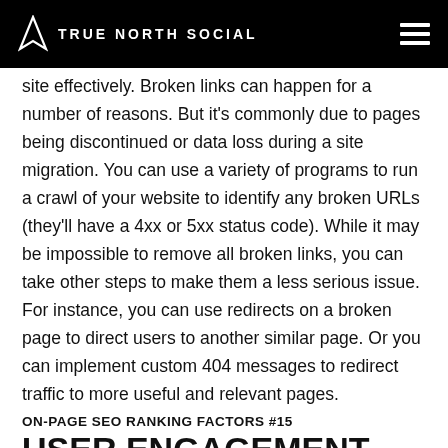TRUE NORTH SOCIAL
site effectively. Broken links can happen for a number of reasons. But it's commonly due to pages being discontinued or data loss during a site migration. You can use a variety of programs to run a crawl of your website to identify any broken URLs (they'll have a 4xx or 5xx status code). While it may be impossible to remove all broken links, you can take other steps to make them a less serious issue. For instance, you can use redirects on a broken page to direct users to another similar page. Or you can implement custom 404 messages to redirect traffic to more useful and relevant pages.
ON-PAGE SEO RANKING FACTORS #15
USER ENGAGEMENT
Google tries to focus much of its search engine